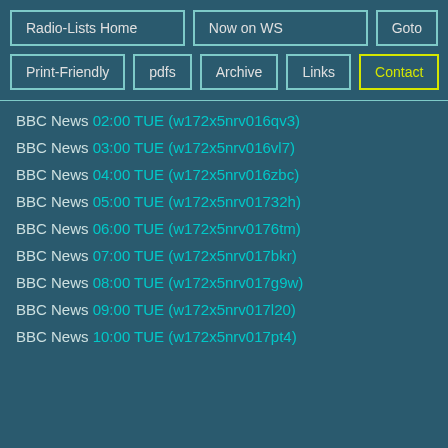Radio-Lists Home | Now on WS | Goto | Print-Friendly | pdfs | Archive | Links | Contact
BBC News 02:00 TUE (w172x5nrv016qv3)
BBC News 03:00 TUE (w172x5nrv016vl7)
BBC News 04:00 TUE (w172x5nrv016zbc)
BBC News 05:00 TUE (w172x5nrv01732h)
BBC News 06:00 TUE (w172x5nrv0176tm)
BBC News 07:00 TUE (w172x5nrv017bkr)
BBC News 08:00 TUE (w172x5nrv017g9w)
BBC News 09:00 TUE (w172x5nrv017l20)
BBC News 10:00 TUE (w172x5nrv017pt4)